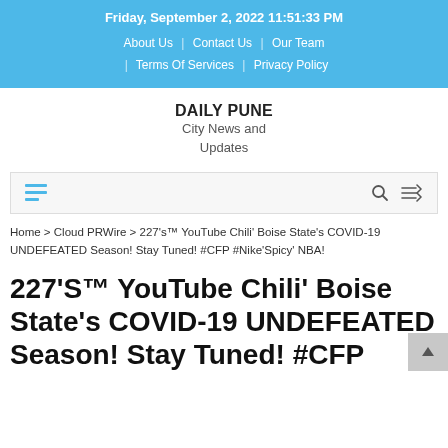Friday, September 2, 2022 11:51:33 PM
About Us | Contact Us | Our Team | Terms Of Services | Privacy Policy
DAILY PUNE
City News and Updates
Home > Cloud PRWire > 227’s™ YouTube Chili’ Boise State’s COVID-19 UNDEFEATED Season! Stay Tuned! #CFP #Nike’Spicy’ NBA!
227’S™ YouTube Chili’ Boise State’s COVID-19 UNDEFEATED Season! Stay Tuned! #CFP